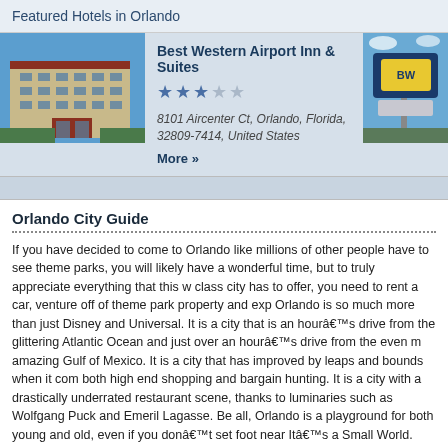Featured Hotels in Orlando
Best Western Airport Inn & Suites
★★★☆☆
8101 Aircenter Ct, Orlando, Florida, 32809-7414, United States
More »
[Figure (photo): Hotel building exterior photo (left)]
[Figure (photo): Best Western sign/logo photo (right)]
Orlando City Guide
If you have decided to come to Orlando like millions of other people have to see theme parks, you will likely have a wonderful time, but to truly appreciate everything that this world class city has to offer, you need to rent a car, venture off of theme park property and explore. Orlando is so much more than just Disney and Universal. It is a city that is an hour's drive from the glittering Atlantic Ocean and just over an hour's drive from the even more amazing Gulf of Mexico. It is a city that has improved by leaps and bounds when it comes to both high end shopping and bargain hunting. It is a city with a drastically underrated restaurant scene, thanks to luminaries such as Wolfgang Puck and Emeril Lagasse. Best of all, Orlando is a playground for both young and old, even if you don't set foot near It's a Small World.
[Figure (photo): Roller coaster / theme park ride photo at bottom of page]